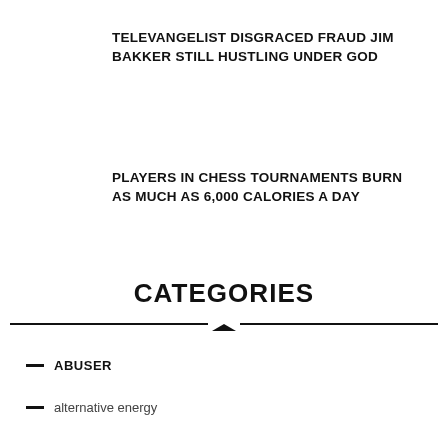TELEVANGELIST DISGRACED FRAUD JIM BAKKER STILL HUSTLING UNDER GOD
PLAYERS IN CHESS TOURNAMENTS BURN AS MUCH AS 6,000 CALORIES A DAY
CATEGORIES
ABUSER
alternative energy